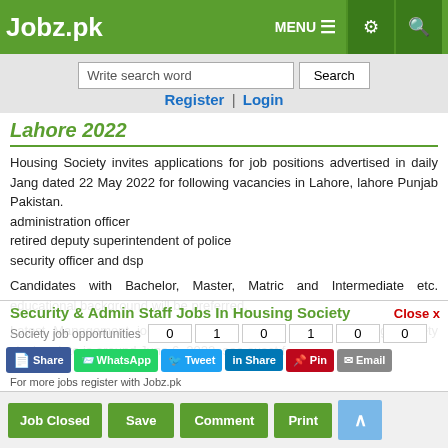Jobz.pk  MENU  ⚙  🔍
Write search word  Search
Register | Login
Lahore 2022
Housing Society invites applications for job positions advertised in daily Jang dated 22 May 2022 for following vacancies in Lahore, lahore Punjab Pakistan.
administration officer
retired deputy superintendent of police
security officer and dsp

Candidates with Bachelor, Master, Matric and Intermediate etc. educational background will be preferred.

Latest Management jobs and others Private jobs in Housing Society closing date is around June 6, 2022, see exact f...
Security & Admin Staff Jobs In Housing Society
Society job opportunities
For more jobs register with Jobz.pk
Share | WhatsApp | Tweet | Share | Pin | Email
Job Closed  Save  Comment  Print